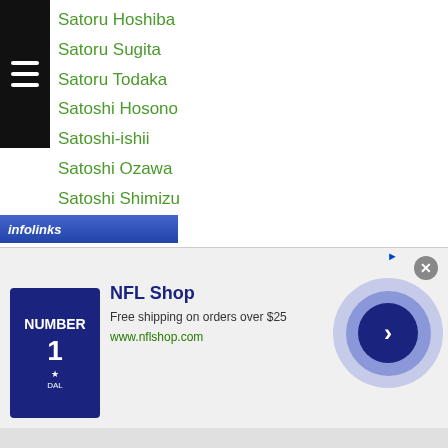Satoru Hoshiba
Satoru Sugita
Satoru Todaka
Satoshi Hosono
Satoshi-ishii
Satoshi Ozawa
Satoshi Shimizu
Satoshi Tanaka
Satsuki Ito
Save Japan Boxing
Sa Ya Lee
Sayo Segawa
Scott Quigg
SEA Games
Seigo Hanamori
Yuri Akui
[Figure (screenshot): NFL Shop advertisement banner with shirt image, NFL Shop title, free shipping offer text, and circular arrow button]